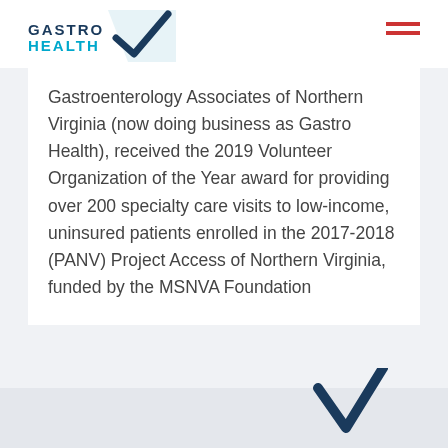GASTRO HEALTH
Gastroenterology Associates of Northern Virginia (now doing business as Gastro Health), received the 2019 Volunteer Organization of the Year award for providing over 200 specialty care visits to low-income, uninsured patients enrolled in the 2017-2018 (PANV) Project Access of Northern Virginia, funded by the MSNVA Foundation
[Figure (logo): Partial Gastro Health checkmark logo visible at bottom right of page]